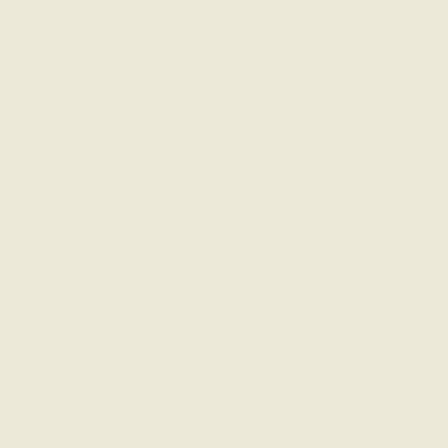24 The Navy Lark 611027 Relatives a...
25 The Navy Lark 611110 Are Captain...
26 The Navy Lark 611117 Cine Camer...
27 The Navy Lark 611124 The Citizen...
28 The Navy Lark 611201 A Hole Lie...
29 The Navy Lark 611208 Spycatchin...
30 The Navy Lark 611215 Mount Pot ...
31 The Navy Lark 611222 Captain Po...
32 The Navy Lark 611229 Leading Se...
33 The Navy Lark 620202 The Sinkin...
34 The Navy Lark 620209 Long Jonat...
35 The Navy Lark 620216 The Admira...
36 The Navy Lark 620223 Over the Se...
37 The Navy Lark 620302 The Return...
38 The Navy Lark 620309 The Ship's ...
39 The Navy Lark 630405 First Day C...
40 The Navy Lark 630412 100th Editi...
41 The Navy Lark 630419 A Deliberat...
42 The Navy Lark 630426 Whittlesea...
43 The Navy Lark 630503 HMS Trout...
44 The Navy Lark 630510 The Ghost ...
45 The Navy Lark 630927 Wren Chas...
46 The Navy Lark 631004 On the Car...
47 The Navy Lark 631011 The Bunga...